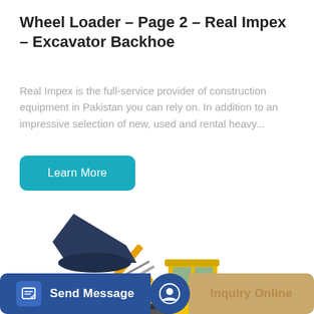Wheel Loader – Page 2 – Real Impex – Excavator Backhoe
Real Impex is the full-service provider of construction equipment in Pakistan you can rely on. In addition to an impressive selection of new, used and rental heavy...
[Figure (other): Button labeled 'Learn More' with teal/cyan background and white text]
[Figure (photo): Yellow wheel loader construction machine with raised dark blue bucket attachment, photographed on white background]
[Figure (other): Footer bar with 'Send Message' button on blue background with message icon on left, circular icon divider in center, and 'Inquiry Online' on tan/gold background on right]